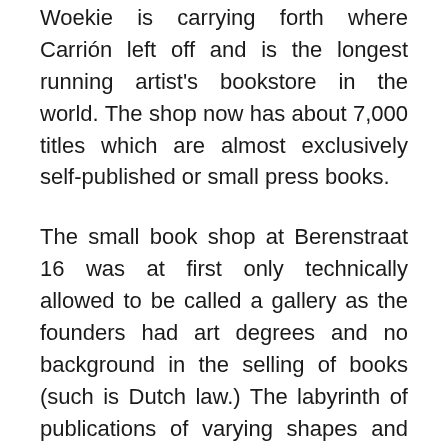Woekie is carrying forth where Carrión left off and is the longest running artist's bookstore in the world. The shop now has about 7,000 titles which are almost exclusively self-published or small press books.
The small book shop at Berenstraat 16 was at first only technically allowed to be called a gallery as the founders had art degrees and no background in the selling of books (such is Dutch law.) The labyrinth of publications of varying shapes and sizes makes up the vast collection that seems to exude the history of the place in the